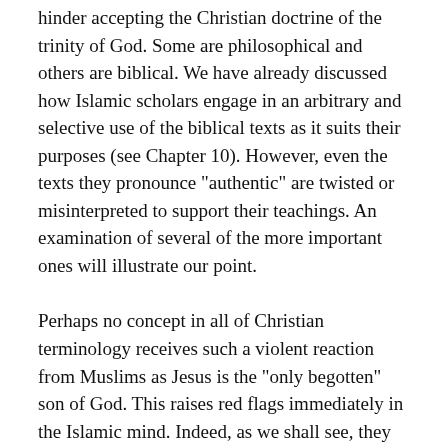hinder accepting the Christian doctrine of the trinity of God. Some are philosophical and others are biblical. We have already discussed how Islamic scholars engage in an arbitrary and selective use of the biblical texts as it suits their purposes (see Chapter 10). However, even the texts they pronounce "authentic" are twisted or misinterpreted to support their teachings. An examination of several of the more important ones will illustrate our point.
Perhaps no concept in all of Christian terminology receives such a violent reaction from Muslims as Jesus is the "only begotten" son of God. This raises red flags immediately in the Islamic mind. Indeed, as we shall see, they understand it in a grossly anthropomorphic manner. Clearing away this misunderstanding is necessary to open the Muslim mind to the concept of the Trinity.
The Bible refers to Christ as the "only begotten" Son of